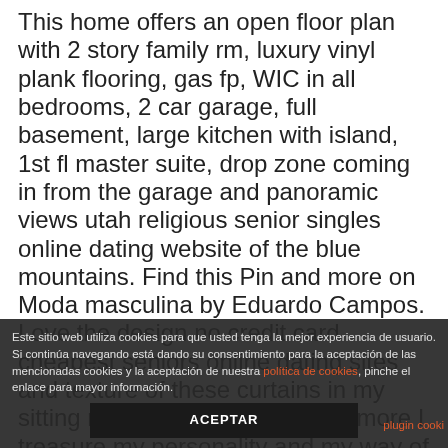This home offers an open floor plan with 2 story family rm, luxury vinyl plank flooring, gas fp, WIC in all bedrooms, 2 car garage, full basement, large kitchen with island, 1st fl master suite, drop zone coming in from the garage and panoramic views utah religious senior singles online dating website of the blue mountains. Find this Pin and more on Moda masculina by Eduardo Campos. Love the design no credit card cheapest seniors online dating sites and texture of these curtains in my sitting room. The older I get the more I treasure my personality and my way of thinking. Besides a lousy script, the
Este sitio web utiliza cookies para que usted tenga la mejor experiencia de usuario. Si continúa navegando está dando su consentimiento para la aceptación de las mencionadas cookies y la aceptación de nuestra política de cookies, pinche el enlace para mayor información. ACEPTAR plugin cooki